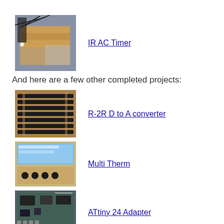[Figure (photo): Photo of breadboard circuit with wires, components for IR AC Timer project]
IR AC Timer
And here are a few other completed projects:
[Figure (photo): Photo of R-2R resistor ladder PCB for D to A converter project]
R-2R D to A converter
[Figure (photo): Photo of LCD display board for Multi Therm project]
Multi Therm
[Figure (photo): Photo of ATtiny 24 adapter PCB with components]
ATtiny 24 Adapter